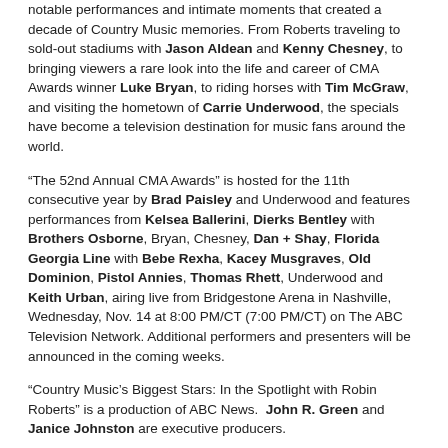notable performances and intimate moments that created a decade of Country Music memories. From Roberts traveling to sold-out stadiums with Jason Aldean and Kenny Chesney, to bringing viewers a rare look into the life and career of CMA Awards winner Luke Bryan, to riding horses with Tim McGraw, and visiting the hometown of Carrie Underwood, the specials have become a television destination for music fans around the world.
“The 52nd Annual CMA Awards” is hosted for the 11th consecutive year by Brad Paisley and Underwood and features performances from Kelsea Ballerini, Dierks Bentley with Brothers Osborne, Bryan, Chesney, Dan + Shay, Florida Georgia Line with Bebe Rexha, Kacey Musgraves, Old Dominion, Pistol Annies, Thomas Rhett, Underwood and Keith Urban, airing live from Bridgestone Arena in Nashville, Wednesday, Nov. 14 at 8:00 PM/CT (7:00 PM/CT) on The ABC Television Network. Additional performers and presenters will be announced in the coming weeks.
“Country Music’s Biggest Stars: In the Spotlight with Robin Roberts” is a production of ABC News.  John R. Green and Janice Johnston are executive producers.